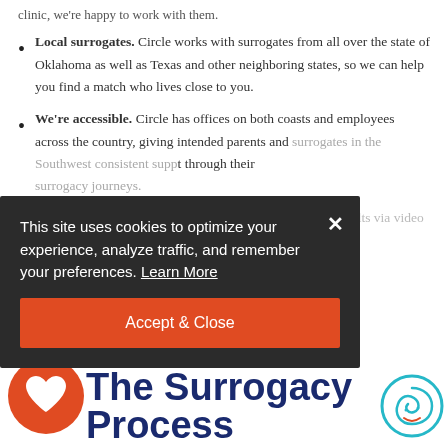clinic, we're happy to work with them.
Local surrogates. Circle works with surrogates from all over the state of Oklahoma as well as Texas and other neighboring states, so we can help you find a match who lives close to you.
We're accessible. Circle has offices on both coasts and employees across the country, giving intended parents and surrogates in the Southwest consistent support through their surrogacy journeys.
Flexible consultation schedule. We are available for consults via video calls during the day, evenings, and some weekends. [schedule]
This site uses cookies to optimize your experience, analyze traffic, and remember your preferences. Learn More
Accept & Close
[Figure (logo): Orange circle with white heart icon - Circle Surrogacy logo]
The Surrogacy Process
[Figure (logo): Teal circle face logo with smile]